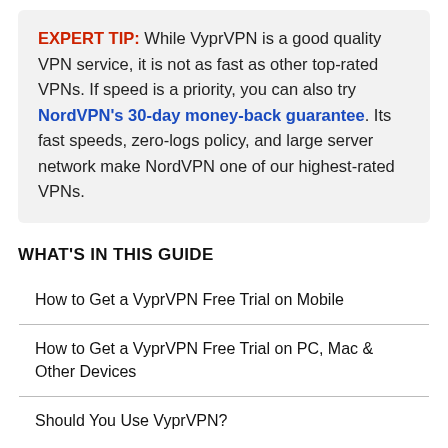EXPERT TIP: While VyprVPN is a good quality VPN service, it is not as fast as other top-rated VPNs. If speed is a priority, you can also try NordVPN's 30-day money-back guarantee. Its fast speeds, zero-logs policy, and large server network make NordVPN one of our highest-rated VPNs.
WHAT'S IN THIS GUIDE
| How to Get a VyprVPN Free Trial on Mobile |
| How to Get a VyprVPN Free Trial on PC, Mac & Other Devices |
| Should You Use VyprVPN? |